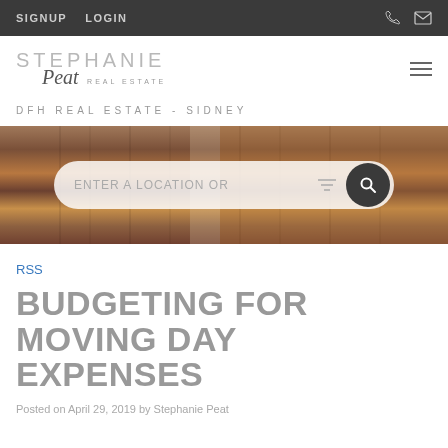SIGNUP   LOGIN
[Figure (logo): Stephanie Peat Real Estate logo with stylized script name]
DFH REAL ESTATE - SIDNEY
[Figure (photo): Hero banner showing wooden door panels in brown tones with a search bar overlay reading ENTER A LOCATION OR with filter and search icons]
RSS
BUDGETING FOR MOVING DAY EXPENSES
Posted on April 29, 2019 by Stephanie Peat